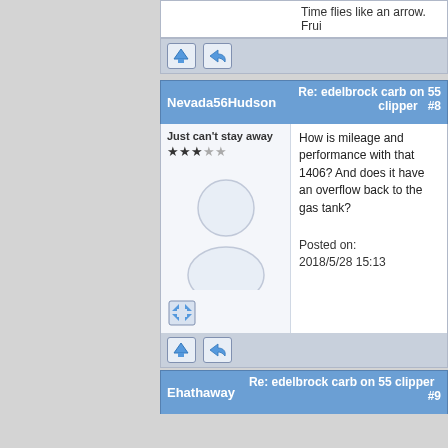Time flies like an arrow. Frui
[Figure (screenshot): Action bar with up-arrow and reply icon buttons]
Nevada56Hudson — Re: edelbrock carb on 55 clipper #8
Just can't stay away
[Figure (illustration): Default user avatar (silhouette)]
How is mileage and performance with that 1406? And does it have an overflow back to the gas tank?

Posted on: 2018/5/28 15:13
[Figure (screenshot): Action bar with up-arrow and reply icon buttons]
Ehathaway — Re: edelbrock carb on 55 clipper #9